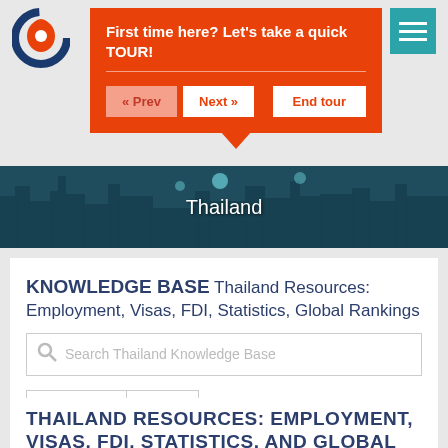[Figure (logo): Circular logo with blue and orange design]
First time here? Let's take a quick TOUR!
[Figure (screenshot): Thailand city skyline banner image with teal/blue tones]
Thailand
KNOWLEDGE BASE Thailand Resources: Employment, Visas, FDI, Statistics, Global Rankings
Search Thailand Knowledge Base
Previous  Next
THAILAND RESOURCES: EMPLOYMENT, VISAS, FDI, STATISTICS, AND GLOBAL